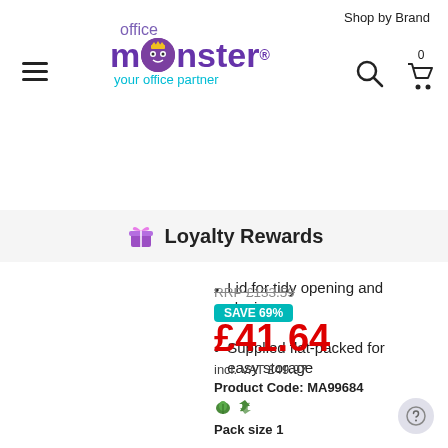Shop by Brand
[Figure (logo): Office Monster logo with purple monster character and tagline 'your office partner']
🎁 Loyalty Rewards
Lid for tidy opening and closing
Supplied flat-packed for easy storage
RRP £133.59
SAVE 69%
£41.64
incl. VAT £49.97
Product Code: MA99684
Pack size 1